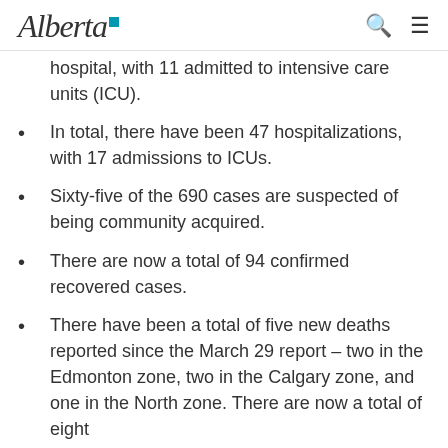Alberta [logo]
hospital, with 11 admitted to intensive care units (ICU).
In total, there have been 47 hospitalizations, with 17 admissions to ICUs.
Sixty-five of the 690 cases are suspected of being community acquired.
There are now a total of 94 confirmed recovered cases.
There have been a total of five new deaths reported since the March 29 report – two in the Edmonton zone, two in the Calgary zone, and one in the North zone. There are now a total of eight deaths in Alberta.